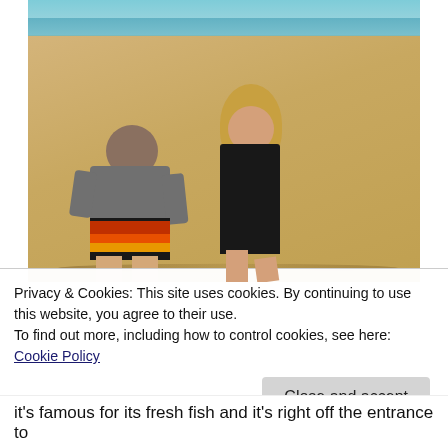[Figure (photo): Two people standing on a sandy beach. A man wearing a gray shirt and colorful striped board shorts (black, red, orange, yellow stripes) stands next to a woman in a black one-piece swimsuit with long blonde hair. They are posing together on the sand with the ocean visible in the background.]
Privacy & Cookies: This site uses cookies. By continuing to use this website, you agree to their use.
To find out more, including how to control cookies, see here: Cookie Policy
Close and accept
it's famous for its fresh fish and it's right off the entrance to